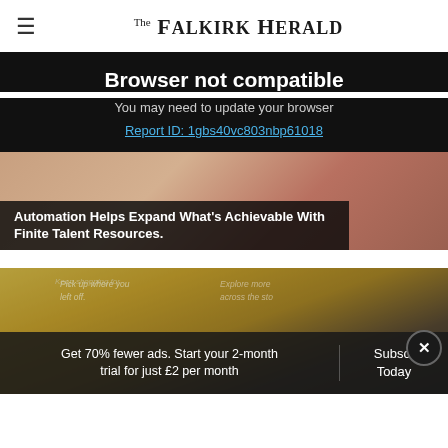The Falkirk Herald
Browser not compatible
You may need to update your browser
Report ID: 1gbs40vc803nbp61018
[Figure (photo): Background photo partially visible behind browser compatibility overlay, showing a blurred workspace scene]
Automation Helps Expand What's Achievable With Finite Talent Resources.
[Figure (photo): Mobile phone screens showing shopping or browsing app interface on yellow/gold background]
Get 70% fewer ads. Start your 2-month trial for just £2 per month
Subscribe Today